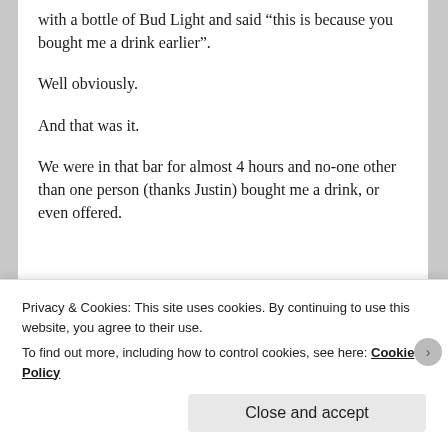with a bottle of Bud Light and said “this is because you bought me a drink earlier”.
Well obviously.
And that was it.
We were in that bar for almost 4 hours and no-one other than one person (thanks Justin) bought me a drink, or even offered.
[Figure (other): Advertisement banner with text: same page is easy. And free.]
REPORT THIS AD
Privacy & Cookies: This site uses cookies. By continuing to use this website, you agree to their use.
To find out more, including how to control cookies, see here: Cookie Policy
Close and accept